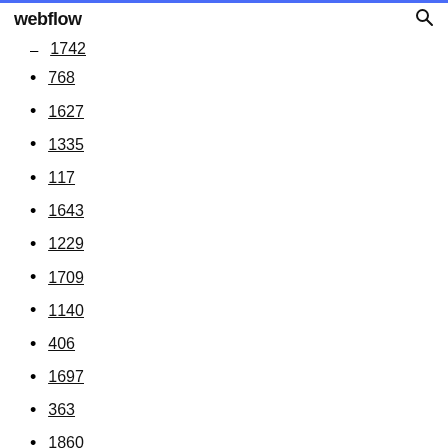webflow
1742
768
1627
1335
117
1643
1229
1709
1140
406
1697
363
1860